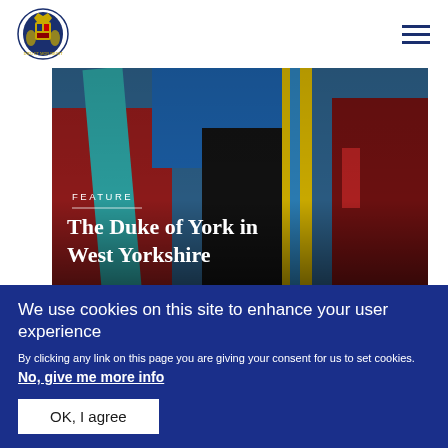[Figure (logo): Royal coat of arms logo in blue and gold, circular seal style]
[Figure (photo): Photo of people in academic graduation robes with colourful sashes (teal, red, yellow, blue). Overlaid text: FEATURE label and title 'The Duke of York in West Yorkshire']
We use cookies on this site to enhance your user experience
By clicking any link on this page you are giving your consent for us to set cookies. No, give me more info
OK, I agree